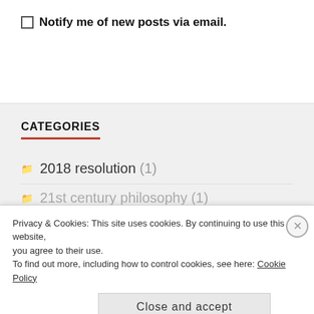Notify me of new posts via email.
CATEGORIES
2018 resolution (1)
21st century philosophy (1)
Privacy & Cookies: This site uses cookies. By continuing to use this website, you agree to their use.
To find out more, including how to control cookies, see here: Cookie Policy
Close and accept